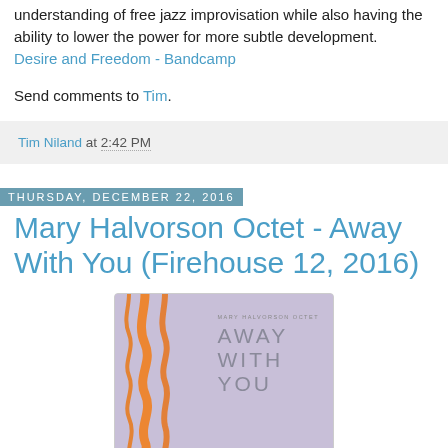understanding of free jazz improvisation while also having the ability to lower the power for more subtle development. Desire and Freedom - Bandcamp
Send comments to Tim.
Tim Niland at 2:42 PM
Thursday, December 22, 2016
Mary Halvorson Octet - Away With You (Firehouse 12, 2016)
[Figure (photo): Album cover for 'Away With You' by Mary Halvorson Octet on Firehouse 12, 2016. Lavender/purple background with orange wavy vertical lines on the left side and large spaced lettering reading AWAY WITH YOU on the right, with small text MARY HALVORSON OCTET above.]